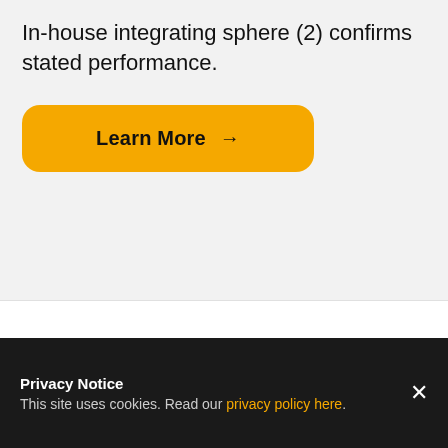In-house integrating sphere (2) confirms stated performance.
[Figure (other): Yellow rounded rectangle button labeled 'Learn More →']
Our clients
At Illumadyne, we are providing high
Privacy Notice
This site uses cookies. Read our privacy policy here.